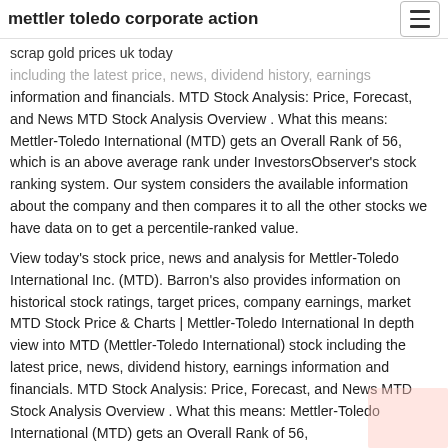mettler toledo corporate action
scrap gold prices uk today
including the latest price, news, dividend history, earnings information and financials. MTD Stock Analysis: Price, Forecast, and News MTD Stock Analysis Overview . What this means: Mettler-Toledo International (MTD) gets an Overall Rank of 56, which is an above average rank under InvestorsObserver's stock ranking system. Our system considers the available information about the company and then compares it to all the other stocks we have data on to get a percentile-ranked value.
View today's stock price, news and analysis for Mettler-Toledo International Inc. (MTD). Barron's also provides information on historical stock ratings, target prices, company earnings, market MTD Stock Price & Charts | Mettler-Toledo International In depth view into MTD (Mettler-Toledo International) stock including the latest price, news, dividend history, earnings information and financials. MTD Stock Analysis: Price, Forecast, and News MTD Stock Analysis Overview . What this means: Mettler-Toledo International (MTD) gets an Overall Rank of 56,